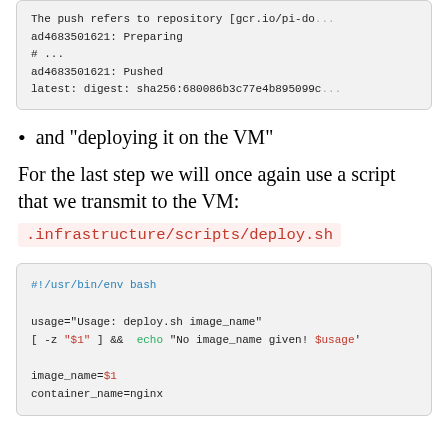[Figure (screenshot): Code block showing docker push output: 'The push refers to repository [gcr.io/pi-do...', 'ad4683501621: Preparing', '# ...', 'ad4683501621: Pushed', 'latest: digest: sha256:680086b3c77e4b895099c...']
and "deploying it on the VM"
For the last step we will once again use a script that we transmit to the VM:
.infrastructure/scripts/deploy.sh
[Figure (screenshot): Shell script code block showing: '#!/usr/bin/env bash', 'usage="Usage: deploy.sh image_name"', '[ -z "$1" ] && echo "No image_name given! $usage"', 'image_name=$1', 'container_name=nginx']